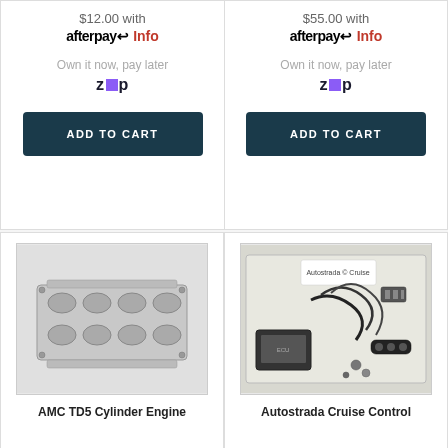$12.00 with
[Figure (logo): Afterpay logo with Info link]
Own it now, pay later
[Figure (logo): Zip logo]
ADD TO CART
$55.00 with
[Figure (logo): Afterpay logo with Info link]
Own it now, pay later
[Figure (logo): Zip logo]
ADD TO CART
[Figure (photo): AMC TD5 cylinder engine head, metal silver component, top down view]
AMC TD5 Cylinder Engine
[Figure (photo): Autostrada Cruise Control kit with wiring harness, control switch, and module on branded packaging]
Autostrada Cruise Control